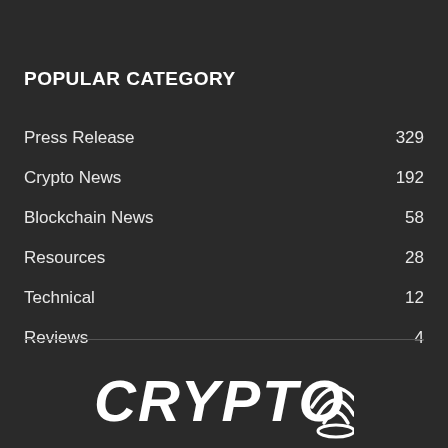POPULAR CATEGORY
Press Release 329
Crypto News 192
Blockchain News 58
Resources 28
Technical 12
Reviews 4
[Figure (logo): CRYPTO logo with globe/signal wave icon]